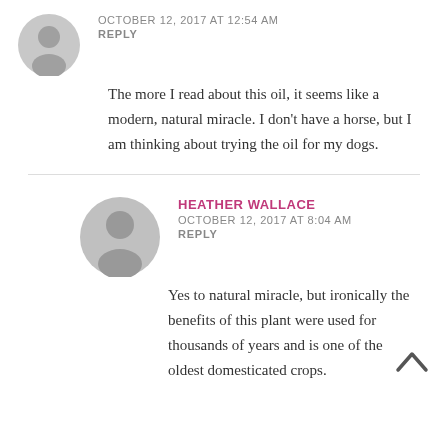[Figure (illustration): Gray avatar/user icon circle, top-left comment]
OCTOBER 12, 2017 AT 12:54 AM
REPLY
The more I read about this oil, it seems like a modern, natural miracle. I don't have a horse, but I am thinking about trying the oil for my dogs.
[Figure (illustration): Gray avatar/user icon circle, second comment (Heather Wallace)]
HEATHER WALLACE
OCTOBER 12, 2017 AT 8:04 AM
REPLY
Yes to natural miracle, but ironically the benefits of this plant were used for thousands of years and is one of the oldest domesticated crops.